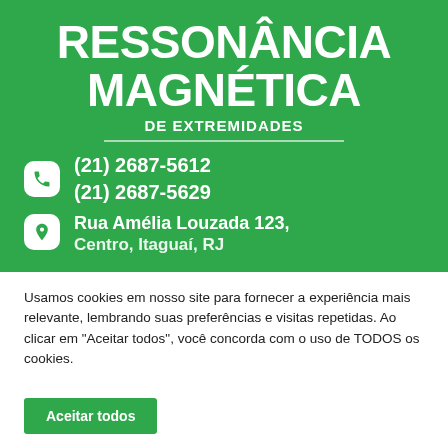RESSONÂNCIA MAGNÉTICA
DE EXTREMIDADES
(21) 2687-5612
(21) 2687-5629
Rua Amélia Louzada 123, Centro, Itaguaí, RJ
Usamos cookies em nosso site para fornecer a experiência mais relevante, lembrando suas preferências e visitas repetidas. Ao clicar em "Aceitar todos", você concorda com o uso de TODOS os cookies.
Aceitar todos